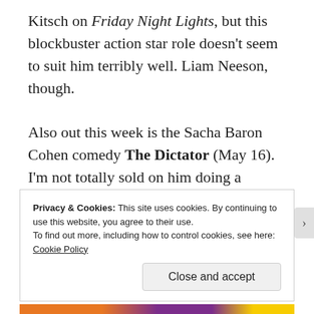Kitsch on Friday Night Lights, but this blockbuster action star role doesn't seem to suit him terribly well. Liam Neeson, though.

Also out this week is the Sacha Baron Cohen comedy The Dictator (May 16). I'm not totally sold on him doing a mostly scripted comedy as one of his farcical characters (for me, the most interesting part of Borat was watching Regular Folks react to his outlandish behaviour), but I'd be glad to be proven wrong. Anna Faris, John C. Reilly, and Ben Kingsley give me more hope.
Privacy & Cookies: This site uses cookies. By continuing to use this website, you agree to their use.
To find out more, including how to control cookies, see here: Cookie Policy
Close and accept